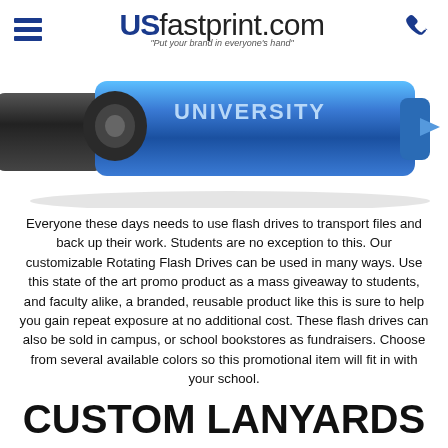US fastprint.com — "Put your brand in everyone's hand"
[Figure (photo): Close-up photo of a blue and black rotating USB flash drive with 'UNIVERSITY' printed on it in white text.]
Everyone these days needs to use flash drives to transport files and back up their work. Students are no exception to this. Our customizable Rotating Flash Drives can be used in many ways. Use this state of the art promo product as a mass giveaway to students, and faculty alike, a branded, reusable product like this is sure to help you gain repeat exposure at no additional cost. These flash drives can also be sold in campus, or school bookstores as fundraisers. Choose from several available colors so this promotional item will fit in with your school.
CUSTOM LANYARDS